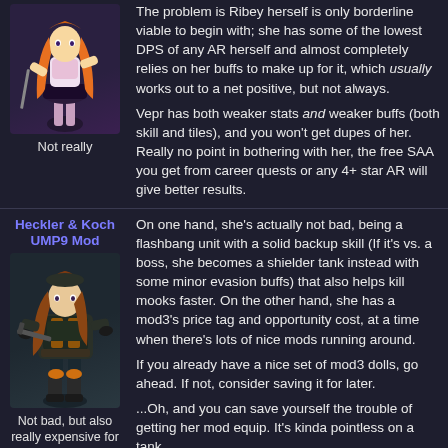The problem is Ribey herself is only borderline viable to begin with; she has some of the lowest DPS of any AR herself and almost completely relies on her buffs to make up for it, which usually works out to a net positive, but not always.
Vepr has both weaker stats and weaker buffs (both skill and tiles), and you won't get dupes of her. Really no point in bothering with her, the free SAA you get from career quests or any 4+ star AR will give better results.
[Figure (illustration): Anime-style character illustration (Ribey/Vepr), girl with long orange hair in a skirt outfit, cropped at top]
Not really
Heckler & Koch UMP9 Mod
[Figure (illustration): Anime-style character illustration (UMP9 Mod), girl with brown hair in dark tactical gear with orange accents]
Not bad, but also really expensive for what she does
On one hand, she's actually not bad, being a flashbang unit with a solid backup skill (If it's vs. a boss, she becomes a shielder tank instead with some minor evasion buffs) that also helps kill mooks faster. On the other hand, she has a mod3's price tag and opportunity cost, at a time when there's lots of nice mods running around.
If you already have a nice set of mod3 dolls, go ahead. If not, consider saving it for later.
...Oh, and you can save yourself the trouble of getting her mod equip. It's kinda pointless on a tank.